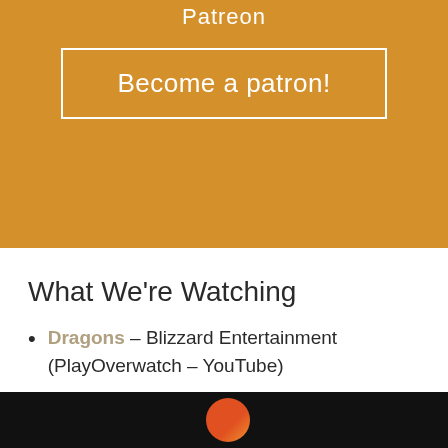Patreon
Become a patron!
What We're Watching
Dragons – Blizzard Entertainment (PlayOverwatch – YouTube)
[Figure (photo): Dark thumbnail bar at the bottom with a partial circular logo visible on the left side against a black background]